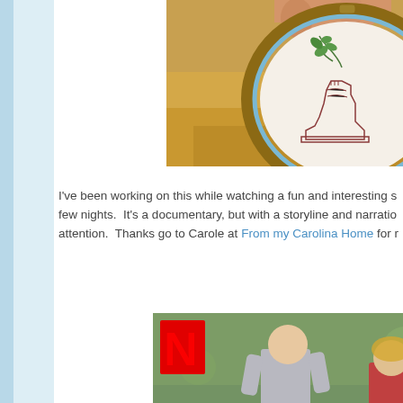[Figure (photo): A hand holding an embroidery hoop with a stitched design of a boot with green leaves, fabric in cream color with blue hoop edge, lit by warm sunlight]
I've been working on this while watching a fun and interesting s... few nights. It's a documentary, but with a storyline and narratio... attention. Thanks go to Carole at From my Carolina Home for r...
[Figure (photo): Netflix documentary movie poster for 'Penguin Town' or similar, showing people walking outdoors with the Netflix N logo in red at top left and large white bold text 'PENGUIM' visible at bottom]